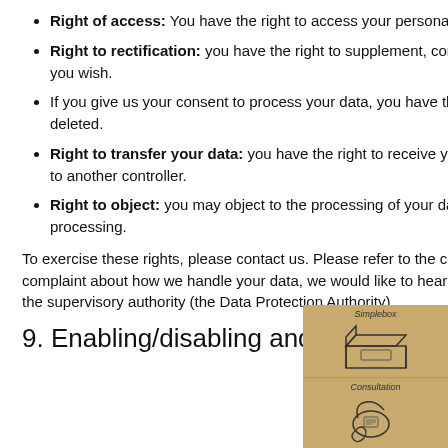Right of access: You have the right to access your personal data that is known to us.
Right to rectification: you have the right to supplement, correct, have deleted or blocked your personal data whenever you wish.
If you give us your consent to process your data, you have the right to revoke that consent and to have your personal data deleted.
Right to transfer your data: you have the right to receive your personal data from the controller and transfer in its entirety to another controller.
Right to object: you may object to the processing of your data. We comply with this, unless there are justified grounds for processing.
To exercise these rights, please contact us. Please refer to the contact details at the bottom of this Cookie Policy. If you have a complaint about how we handle your data, we would like to hear from you, but you also have the right to submit a complaint to the supervisory authority (the Data Protection Authority).
[Figure (illustration): Three stacked decorative tan/kraft-colored boxes labeled 'Simplebox', 'Consultation', and 'Quote' with simple line-art illustrations of a box, a telephone, and a document with a hand.]
9. Enabling/disabling and deleting cookies